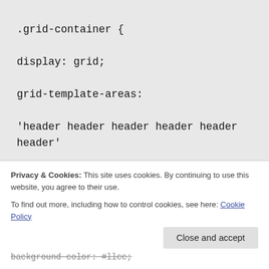.grid-container {

display: grid;

grid-template-areas:

'header header header header header header'

'menu main main main right right'

'menu footer footer footer footer
Privacy & Cookies: This site uses cookies. By continuing to use this website, you agree to their use.
To find out more, including how to control cookies, see here: Cookie Policy
Close and accept
background-color: #llcc;